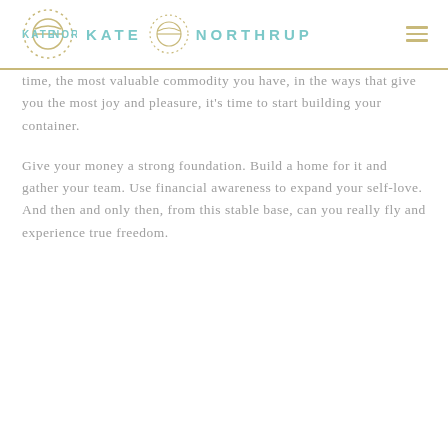[Figure (logo): Kate Northrup logo with teal text and circular dotted icon]
time, the most valuable commodity you have, in the ways that give you the most joy and pleasure, it's time to start building your container.
Give your money a strong foundation. Build a home for it and gather your team. Use financial awareness to expand your self-love. And then and only then, from this stable base, can you really fly and experience true freedom.